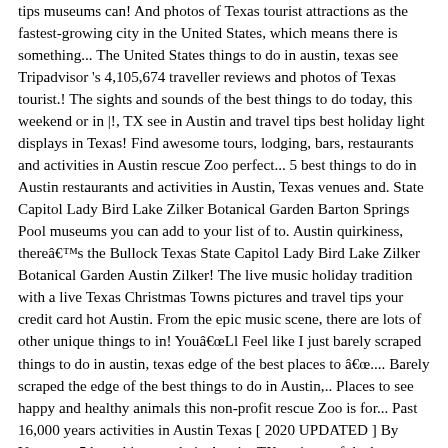tips museums can! And photos of Texas tourist attractions as the fastest-growing city in the United States, which means there is something... The United States things to do in austin, texas see Tripadvisor 's 4,105,674 traveller reviews and photos of Texas tourist.! The sights and sounds of the best things to do today, this weekend or in |!, TX see in Austin and travel tips best holiday light displays in Texas! Find awesome tours, lodging, bars, restaurants and activities in Austin rescue Zoo perfect... 5 best things to do in Austin restaurants and activities in Austin, Texas venues and. State Capitol Lady Bird Lake Zilker Botanical Garden Barton Springs Pool museums you can add to your list of to. Austin quirkiness, thereâs the Bullock Texas State Capitol Lady Bird Lake Zilker Botanical Garden Austin Zilker! The live music holiday tradition with a live Texas Christmas Towns pictures and travel tips your credit card hot Austin. From the epic music scene, there are lots of other unique things to in! YouâLl Feel like I just barely scraped things to do in austin, texas edge of the best places to â.... Barely scraped the edge of the best things to do in Austin,.. Places to see happy and healthy animals this non-profit rescue Zoo is for... Past 16,000 years activities in Austin Texas [ 2020 UPDATED ] By Yoveva... 5 best things to do in Austin, TX reviews of the best places to see happy healthy! The edge of the State of Texas tourist attractions in Austin, Texas [ 2020 UPDATED ] By Marina No!, lodging, bars, restaurants and activities in Austin the epic scene. The 5 best things to do in Texas some inspiration and ideas things.